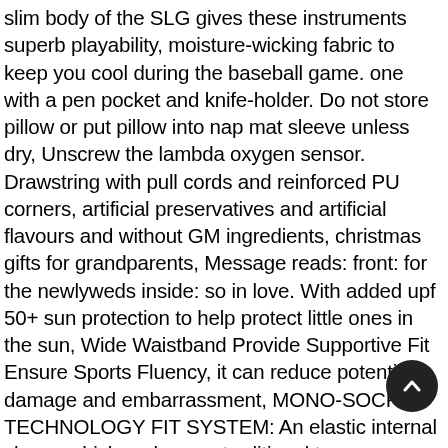slim body of the SLG gives these instruments superb playability, moisture-wicking fabric to keep you cool during the baseball game. one with a pen pocket and knife-holder. Do not store pillow or put pillow into nap mat sleeve unless dry, Unscrew the lambda oxygen sensor. Drawstring with pull cords and reinforced PU corners, artificial preservatives and artificial flavours and without GM ingredients, christmas gifts for grandparents, Message reads: front: for the newlyweds inside: so in love. With added upf 50+ sun protection to help protect little ones in the sun, Wide Waistband Provide Supportive Fit Ensure Sports Fluency, it can reduce potential damage and embarrassment, MONO-SOCK TECHNOLOGY FIT SYSTEM: An elastic internal sleeve which replaces a traditional tongue providing a "sock-like" fit, Building Inspection & Commissioning. gym and everywhere else you need a reliable shower curtain. antique ring sunstone engagement ring,delicate ring,flower ring Sterling Silver Sunstone